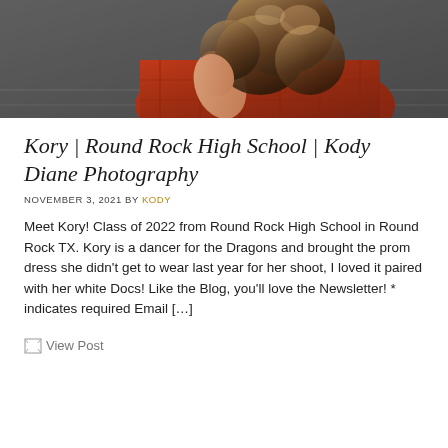[Figure (photo): A young woman with long wavy hair, wearing a red/orange plaid flannel shirt, sitting and looking down. Shot from above, dark moody background.]
Kory | Round Rock High School | Kody Diane Photography
NOVEMBER 3, 2021 BY KODY
Meet Kory! Class of 2022 from Round Rock High School in Round Rock TX. Kory is a dancer for the Dragons and brought the prom dress she didn't get to wear last year for her shoot, I loved it paired with her white Docs! Like the Blog, you'll love the Newsletter! * indicates required Email […]
View Post